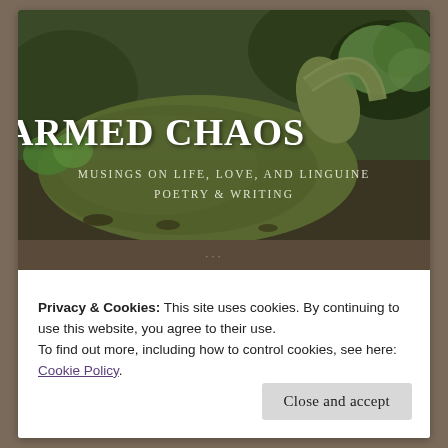[Figure (photo): Header banner image showing a moss-covered ceramic pot/jug lying on its side among small plants and gravel, with green foliage in the background. White text overlaid reads 'CHARMED CHAOS' and 'MUSINGS ON LIFE, LOVE, AND LINGUINE POETRY & WRITING'.]
CHARMED CHAOS
MUSINGS ON LIFE, LOVE, AND LINGUINE POETRY & WRITING
Privacy & Cookies: This site uses cookies. By continuing to use this website, you agree to their use.
To find out more, including how to control cookies, see here: Cookie Policy